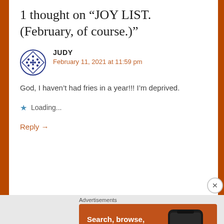1 thought on “JOY LIST. (February, of course.)”
JUDY
February 11, 2021 at 11:59 pm

God, I haven’t had fries in a year!!! I’m deprived.
Loading...
Reply →
[Figure (screenshot): DuckDuckGo advertisement banner: orange background with text 'Search, browse, and email with more privacy. All in One Free App' and DuckDuckGo logo on a smartphone mockup]